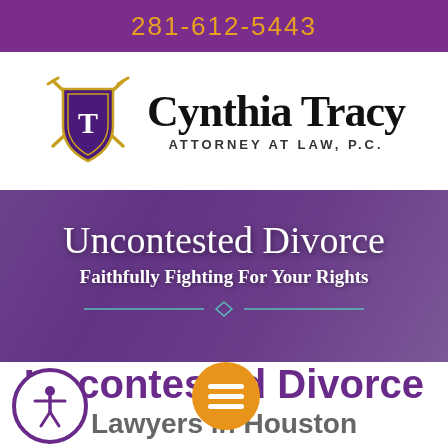281-612-5443
[Figure (logo): Cynthia Tracy Attorney at Law P.C. logo with shield and crossed swords]
Uncontested Divorce
Faithfully Fighting For Your Rights
Uncontested Divorce
Lawyers in Houston